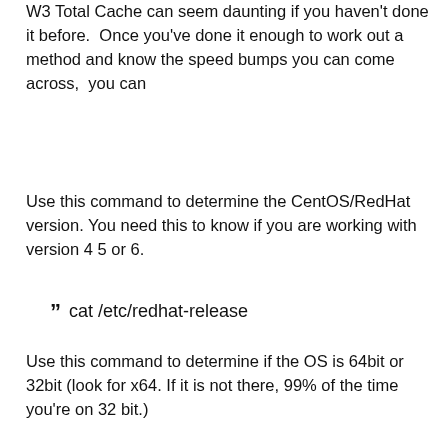W3 Total Cache can seem daunting if you haven't done it before.  Once you've done it enough to work out a method and know the speed bumps you can come across,  you can
Use this command to determine the CentOS/RedHat version. You need this to know if you are working with version 4 5 or 6.
" cat /etc/redhat-release
Use this command to determine if the OS is 64bit or 32bit (look for x64. If it is not there, 99% of the time you're on 32 bit.)